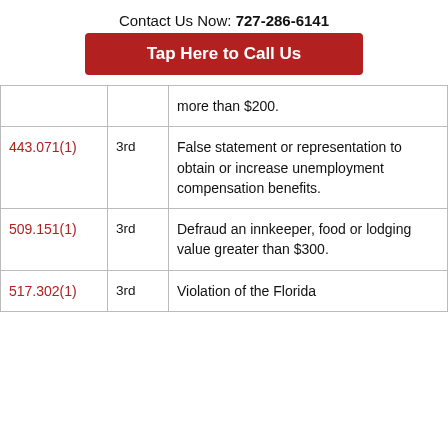Contact Us Now: 727-286-6141
Tap Here to Call Us
| Statute | Degree | Description |
| --- | --- | --- |
|  |  | more than $200. |
| 443.071(1) | 3rd | False statement or representation to obtain or increase unemployment compensation benefits. |
| 509.151(1) | 3rd | Defraud an innkeeper, food or lodging value greater than $300. |
| 517.302(1) | 3rd | Violation of the Florida |